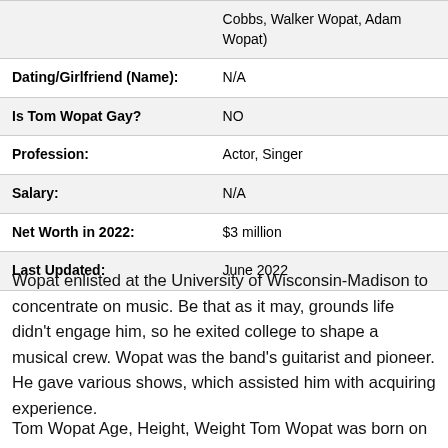| Field | Value |
| --- | --- |
|  | Cobbs, Walker Wopat, Adam Wopat) |
| Dating/Girlfriend (Name): | N/A |
| Is Tom Wopat Gay? | NO |
| Profession: | Actor, Singer |
| Salary: | N/A |
| Net Worth in 2022: | $3 million |
| Last Updated: | June 2022 |
Wopat enlisted at the University of Wisconsin-Madison to concentrate on music. Be that as it may, grounds life didn't engage him, so he exited college to shape a musical crew. Wopat was the band's guitarist and pioneer. He gave various shows, which assisted him with acquiring experience.
Tom Wopat Age, Height, Weight Tom Wopat was born on